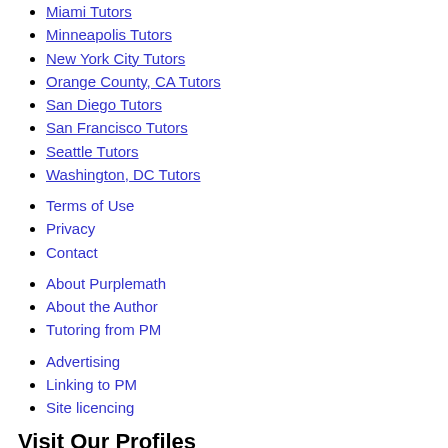Miami Tutors
Minneapolis Tutors
New York City Tutors
Orange County, CA Tutors
San Diego Tutors
San Francisco Tutors
Seattle Tutors
Washington, DC Tutors
Terms of Use
Privacy
Contact
About Purplemath
About the Author
Tutoring from PM
Advertising
Linking to PM
Site licencing
Visit Our Profiles
© 2016 Purplemath All right reserved